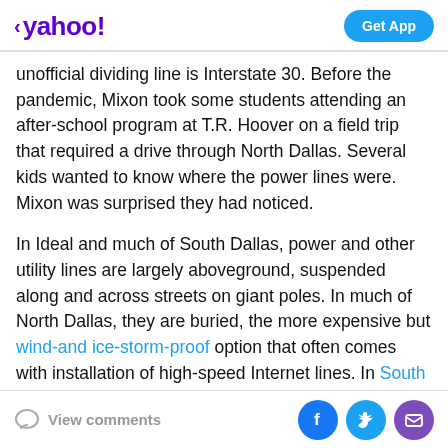< yahoo!  Get App
unofficial dividing line is Interstate 30. Before the pandemic, Mixon took some students attending an after-school program at T.R. Hoover on a field trip that required a drive through North Dallas. Several kids wanted to know where the power lines were. Mixon was surprised they had noticed.
In Ideal and much of South Dallas, power and other utility lines are largely aboveground, suspended along and across streets on giant poles. In much of North Dallas, they are buried, the more expensive but wind-and ice-storm-proof option that often comes with installation of high-speed Internet lines. In South Dallas, where not even Dallas-based AT&T offers high-speed
View comments  [Facebook] [Twitter] [Email]